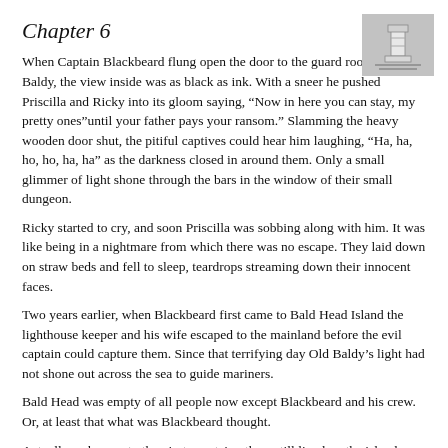Chapter 6
[Figure (illustration): Small thumbnail image in upper right corner showing Old Baldy lighthouse, with grey background and horizontal lines suggesting a simplified iconic image]
When Captain Blackbeard flung open the door to the guard room of Old Baldy, the view inside was as black as ink. With a sneer he pushed Priscilla and Ricky into its gloom saying, “Now in here you can stay, my pretty ones” until your father pays your ransom.” Slamming the heavy wooden door shut, the pitiful captives could hear him laughing, “Ha, ha, ho, ho, ha, ha” as the darkness closed in around them. Only a small glimmer of light shone through the bars in the window of their small dungeon.
Ricky started to cry, and soon Priscilla was sobbing along with him. It was like being in a nightmare from which there was no escape. They laid down on straw beds and fell to sleep, teardrops streaming down their innocent faces.
Two years earlier, when Blackbeard first came to Bald Head Island the lighthouse keeper and his wife escaped to the mainland before the evil captain could capture them. Since that terrifying day Old Baldy’s light had not shone out across the sea to guide mariners.
Bald Head was empty of all people now except Blackbeard and his crew. Or, at least that what was Blackbeard thought.
Actually, unknown to the pirate captain others still lived on the island; a Native American Indian family, Running Bear, his wife Sweet River, and their 15 year old son, Brave Fox. Hidden from view behind the live oak